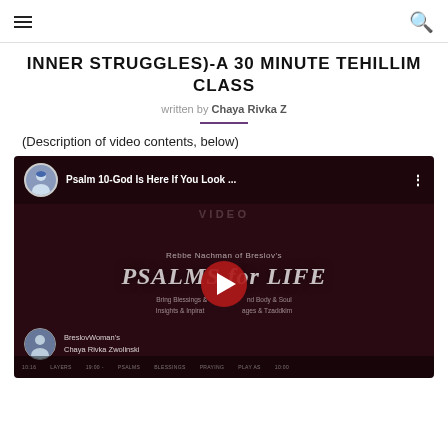Navigation header with hamburger menu and search icon
INNER STRUGGLES)-A 30 MINUTE TEHILLIM CLASS
written by Chaya Rivka Z
(Description of video contents, below)
[Figure (screenshot): YouTube video thumbnail showing 'Psalm 10-God Is Here If You Look ...' by BreslovWoman's Chaya Rivka Zwolinski, with PSALMS for LIFE branding on dark red/maroon background, play button visible]